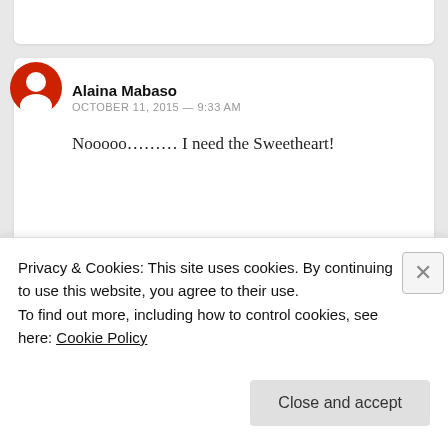Alaina Mabaso
OCTOBER 11, 2015 — 9:33 AM
Nooooo……… I need the Sweetheart!
Serinah
OCTOBER 15, 2015 — 12:01 PM
Privacy & Cookies: This site uses cookies. By continuing to use this website, you agree to their use.
To find out more, including how to control cookies, see here: Cookie Policy
Close and accept